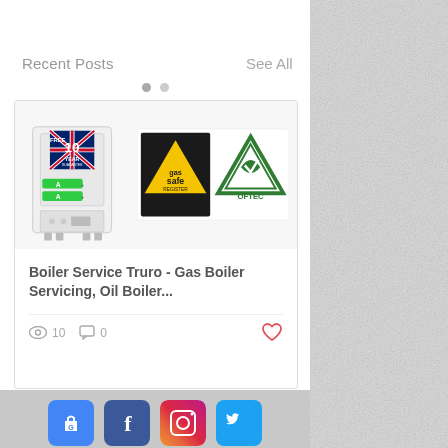Recent Posts
See All
[Figure (photo): Blog post card showing a boiler image with UK flag and '10 Year Guarantee' badge alongside Gas Safe Register and OFTEC logos]
Boiler Service Truro - Gas Boiler Servicing, Oil Boiler...
10  0
[Figure (logo): Social media icons: Google, Facebook, Instagram, Twitter]